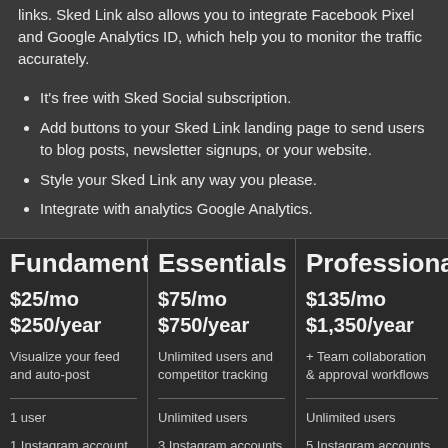links. Sked Link also allows you to integrate Facebook Pixel and Google Analytics ID, which help you to monitor the traffic accurately.
It's free with Sked Social subscription.
Add buttons to your Sked Link landing page to send users to blog posts, newsletter signups, or your website.
Style your Sked Link any way you please.
Integrate with analytics Google Analytics.
| Fundamentals | Essentials | Professional |
| --- | --- | --- |
| $25/mo
$250/year | $75/mo
$750/year | $135/mo
$1,350/year |
| Visualize your feed and auto-post | Unlimited users and competitor tracking | + Team collaboration & approval workflows |
| 1 user | Unlimited users | Unlimited users |
| 1 Instagram account | 3 Instagram accounts | 5 Instagram accounts (up to 10) |
| 2 Pinterest, Twitter accounts, LinkedIn Pages, | 6 Pinterest, Twitter accounts, LinkedIn Pages, | 10 Pinterest, Twitter |